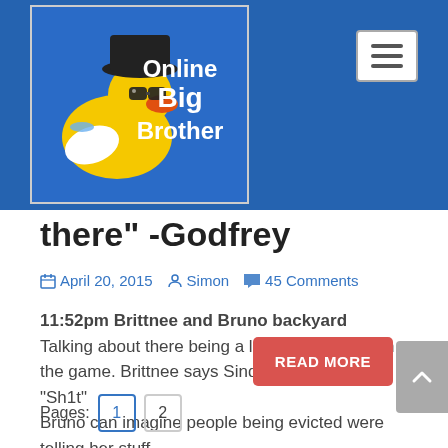[Figure (logo): Online Big Brother website header with rubber duck mascot wearing sunglasses and hat, blue background with text 'Online Big Brother']
there" -Godfrey
April 20, 2015   Simon   45 Comments
11:52pm Brittnee and Bruno backyard
Talking about there being a lot of couples left in the game. Brittnee says Sindy knows some "Sh1t"
Bruno can imagine people being evicted were telling her stuff.
Brittnee says Godfrey thinks he has the votes.
READ MORE
Pages:  1  2